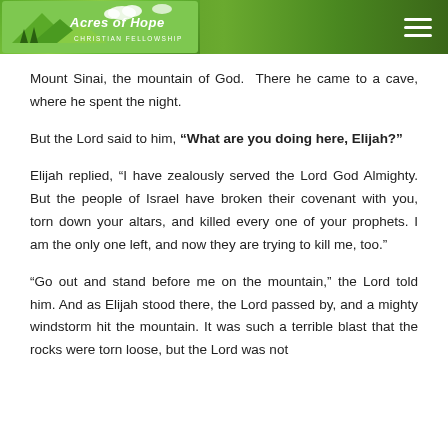[Figure (logo): Acres of Hope Christian Fellowship logo with green landscape and trees on a green gradient banner with hamburger menu icon]
Mount Sinai, the mountain of God.  There he came to a cave, where he spent the night.
But the Lord said to him, “What are you doing here, Elijah?”
Elijah replied, “I have zealously served the Lord God Almighty. But the people of Israel have broken their covenant with you, torn down your altars, and killed every one of your prophets. I am the only one left, and now they are trying to kill me, too.”
“Go out and stand before me on the mountain,” the Lord told him. And as Elijah stood there, the Lord passed by, and a mighty windstorm hit the mountain. It was such a terrible blast that the rocks were torn loose, but the Lord was not